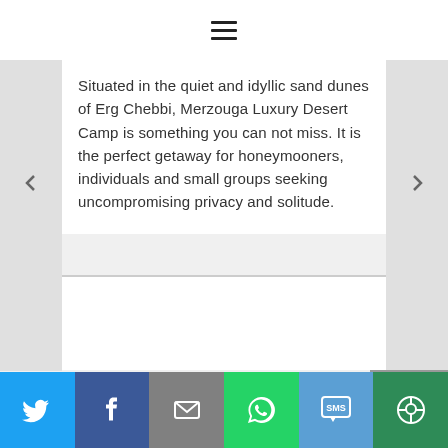hamburger menu icon
Situated in the quiet and idyllic sand dunes of Erg Chebbi, Merzouga Luxury Desert Camp is something you can not miss. It is the perfect getaway for honeymooners, individuals and small groups seeking uncompromising privacy and solitude.
[Figure (infographic): Bottom share bar with social media buttons: Twitter (blue), Facebook (dark blue), Email (gray), WhatsApp (green), SMS (light blue), More (dark green)]